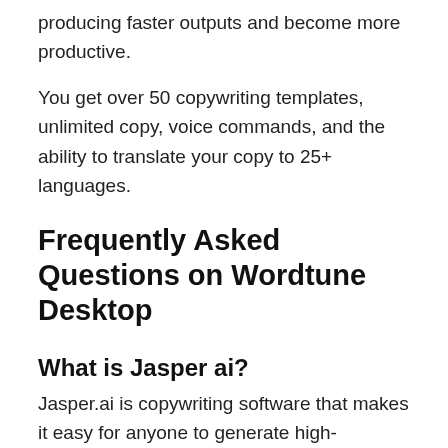producing faster outputs and become more productive.
You get over 50 copywriting templates, unlimited copy, voice commands, and the ability to translate your copy to 25+ languages.
Frequently Asked Questions on Wordtune Desktop
What is Jasper ai?
Jasper.ai is copywriting software that makes it easy for anyone to generate high-performing marketing content using advanced AI.